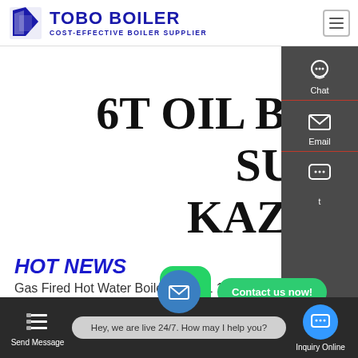[Figure (logo): TOBO BOILER logo with blue icon and text, subtitle COST-EFFECTIVE BOILER SUPPLIER]
6T OIL BOILER PLANT SUPPLIER KAZAKHSTAN
HOT NEWS
[Figure (screenshot): WhatsApp green button and Contact us now! green pill button]
Gas Fired Hot Water Boiler F... 121 150M2
[Figure (screenshot): Right sidebar with Chat, Email, and contact icons on dark background]
[Figure (screenshot): Bottom toolbar with Send Message, live chat bubble Hey we are live 24/7, and Inquiry Online buttons]